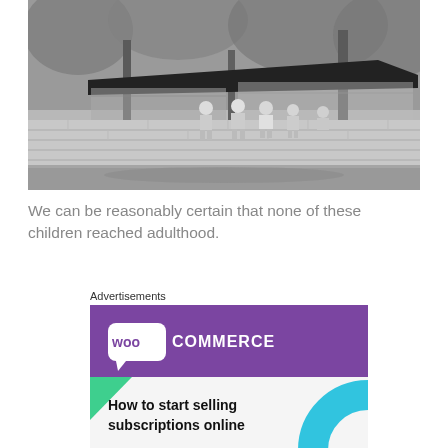[Figure (photo): Black and white photograph of a mid-century modern house with large glass windows and a flat roof. Several children are sitting on a low concrete wall in front of the building, surrounded by trees.]
We can be reasonably certain that none of these children reached adulthood.
Advertisements
[Figure (screenshot): WooCommerce advertisement banner with purple and teal/green accents on a light background. Shows WooCommerce logo and text 'How to start selling subscriptions online'.]